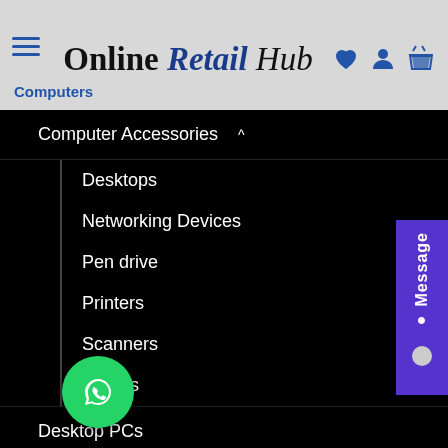Online Retail Hub — Computers
Computer Accessories ^
Desktops
Networking Devices
Pen drive
Printers
Scanners
Tablets
Desktop PCs
Laptops
Refurbished Products
Softwares